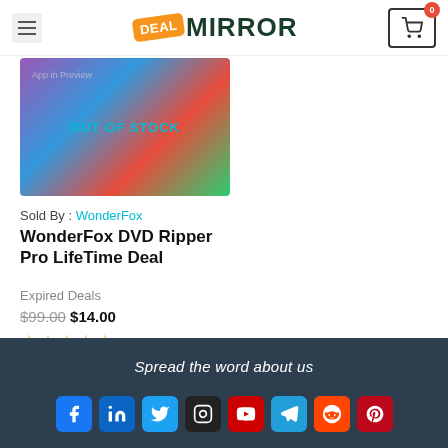Deal Mirror — navigation header with hamburger menu, logo, and cart icon (0 items)
[Figure (screenshot): Product image area showing colorful graphic with 'OUT OF STOCK' text overlay in cyan]
Sold By : WonderFox
WonderFox DVD Ripper Pro LifeTime Deal
Expired Deals
$99.00 $14.00
★★★★★ (empty stars)
Spread the word about us — social icons: Facebook, LinkedIn, Twitter, Instagram, YouTube, Telegram, Reddit, Pinterest